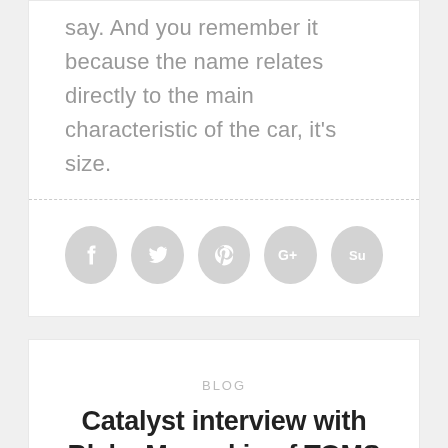say. And you remember it because the name relates directly to the main characteristic of the car, it's size.
[Figure (other): Social sharing buttons: Facebook, Twitter, Pinterest, Google+, StumbleUpon]
BLOG
Catalyst interview with Blake Mycoskie of TOMS Shoes